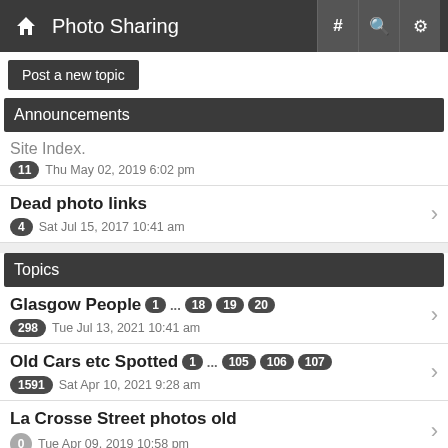Photo Sharing
Post a new topic
Announcements
Site Index. | 11 | Thu May 02, 2019 6:02 pm
Dead photo links | 4 | Sat Jul 15, 2017 10:41 am
Topics
Glasgow People | 1 ... 18 19 20 | 298 | Tue Jul 13, 2021 10:41 am
Old Cars etc Spotted | 1 ... 105 106 107 | 1591 | Sat Apr 10, 2021 9:28 am
La Crosse Street photos old | 0 | Tue Apr 09, 2019 10:58 pm
Animalz & Burdz | 1 ... 13 14 15 | 219 | Wed Dec 12, 2018 7:43 am
photo stitching / panoramas | 1 ... 42 43 44